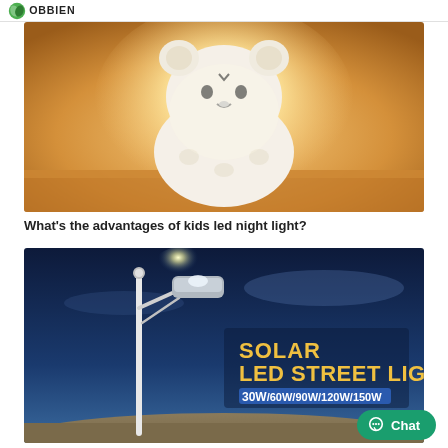OBBIEN
[Figure (photo): A glowing white ceramic bear-shaped kids LED night light on a warm amber background, sitting on a reflective surface.]
What's the advantages of kids led night light?
[Figure (photo): A solar LED street light mounted on a white pole against a dusk sky, with text overlay: SOLAR LED STREET LIGHT 30W/60W/90W/120W/150W in yellow and white on dark blue background.]